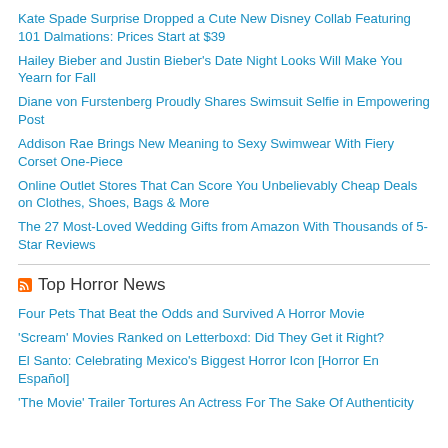Kate Spade Surprise Dropped a Cute New Disney Collab Featuring 101 Dalmations: Prices Start at $39
Hailey Bieber and Justin Bieber's Date Night Looks Will Make You Yearn for Fall
Diane von Furstenberg Proudly Shares Swimsuit Selfie in Empowering Post
Addison Rae Brings New Meaning to Sexy Swimwear With Fiery Corset One-Piece
Online Outlet Stores That Can Score You Unbelievably Cheap Deals on Clothes, Shoes, Bags & More
The 27 Most-Loved Wedding Gifts from Amazon With Thousands of 5-Star Reviews
Top Horror News
Four Pets That Beat the Odds and Survived A Horror Movie
'Scream' Movies Ranked on Letterboxd: Did They Get it Right?
El Santo: Celebrating Mexico's Biggest Horror Icon [Horror En Español]
'The Movie' Trailer Tortures An Actress For The Sake Of Authenticity